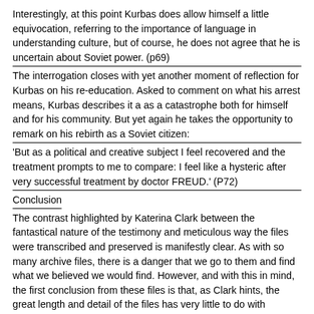Interestingly, at this point Kurbas does allow himself a little equivocation, referring to the importance of language in understanding culture, but of course, he does not agree that he is uncertain about Soviet power. (p69)
The interrogation closes with yet another moment of reflection for Kurbas on his re-education. Asked to comment on what his arrest means, Kurbas describes it a as a catastrophe both for himself and for his community. But yet again he takes the opportunity to remark on his rebirth as a Soviet citizen:
'But as a political and creative subject I feel recovered and the treatment prompts to me to compare: I feel like a hysteric after very successful treatment by doctor FREUD.' (P72)
Conclusion
The contrast highlighted by Katerina Clark between the fantastical nature of the testimony and meticulous way the files were transcribed and preserved is manifestly clear. As with so many archive files, there is a danger that we go to them and find what we believed we would find. However, and with this in mind, the first conclusion from these files is that, as Clark hints, the great length and detail of the files has very little to do with prosecuting the case against the suspect, whose fate was in effect already decided.
Some historians have suggested that the files are a complete